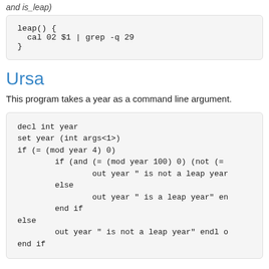and is_leap)
leap() {
  cal 02 $1 | grep -q 29
}
Ursa
This program takes a year as a command line argument.
decl int year
set year (int args<1>)
if (= (mod year 4) 0)
        if (and (= (mod year 100) 0) (not (=
                out year " is not a leap year
        else
                out year " is a leap year" en
        end if
else
        out year " is not a leap year" endl o
end if